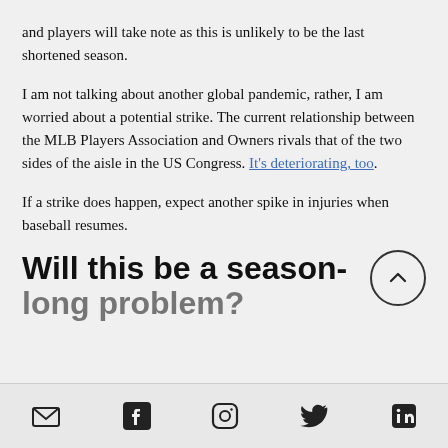and players will take note as this is unlikely to be the last shortened season.
I am not talking about another global pandemic, rather, I am worried about a potential strike. The current relationship between the MLB Players Association and Owners rivals that of the two sides of the aisle in the US Congress. It's deteriorating, too.
If a strike does happen, expect another spike in injuries when baseball resumes.
Will this be a season-long problem?
Email, Facebook, Instagram, Twitter, LinkedIn share icons